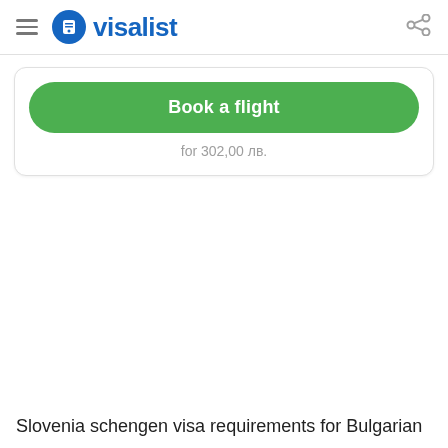visalist
Book a flight
for 302,00 лв.
Slovenia schengen visa requirements for Bulgarian